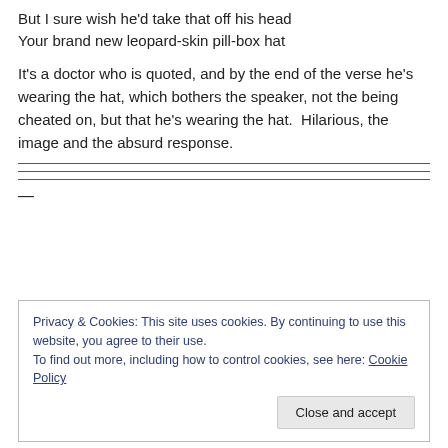But I sure wish he'd take that off his head
Your brand new leopard-skin pill-box hat
It's a doctor who is quoted, and by the end of the verse he's wearing the hat, which bothers the speaker, not the being cheated on, but that he's wearing the hat.  Hilarious, the image and the absurd response.
—
Privacy & Cookies: This site uses cookies. By continuing to use this website, you agree to their use.
To find out more, including how to control cookies, see here: Cookie Policy
[Close and accept]